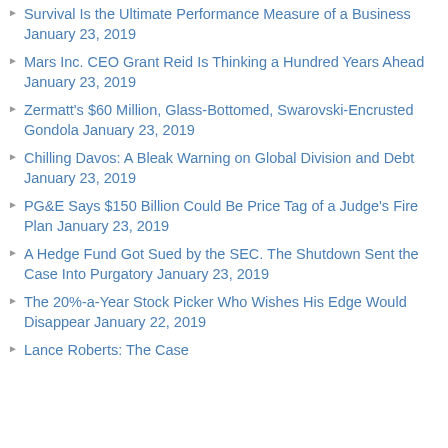Survival Is the Ultimate Performance Measure of a Business January 23, 2019
Mars Inc. CEO Grant Reid Is Thinking a Hundred Years Ahead January 23, 2019
Zermatt's $60 Million, Glass-Bottomed, Swarovski-Encrusted Gondola January 23, 2019
Chilling Davos: A Bleak Warning on Global Division and Debt January 23, 2019
PG&E Says $150 Billion Could Be Price Tag of a Judge's Fire Plan January 23, 2019
A Hedge Fund Got Sued by the SEC. The Shutdown Sent the Case Into Purgatory January 23, 2019
The 20%-a-Year Stock Picker Who Wishes His Edge Would Disappear January 22, 2019
Lance Roberts: The Case…